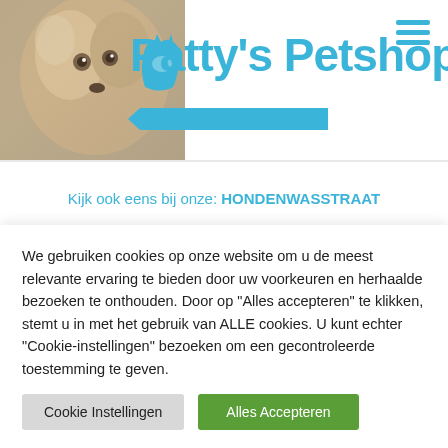[Figure (logo): Patty's Petshop logo with dog photo background and blue text]
Kijk ook eens bij onze: HONDENWASSTRAAT
0201960-los-
We gebruiken cookies op onze website om u de meest relevante ervaring te bieden door uw voorkeuren en herhaalde bezoeken te onthouden. Door op "Alles accepteren" te klikken, stemt u in met het gebruik van ALLE cookies. U kunt echter "Cookie-instellingen" bezoeken om een gecontroleerde toestemming te geven.
Cookie Instellingen | Alles Accepteren